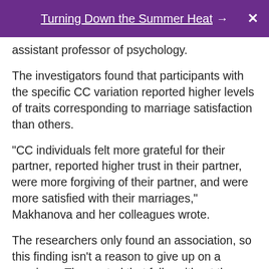Turning Down the Summer Heat →  X
assistant professor of psychology.
The investigators found that participants with the specific CC variation reported higher levels of traits corresponding to marriage satisfaction than others.
"CC individuals felt more grateful for their partner, reported higher trust in their partner, were more forgiving of their partner, and were more satisfied with their marriages," Makhanova and her colleagues wrote.
The researchers only found an association, so this finding isn't a reason to give up on a marriage. They noted that folks without the CD38 CC variation can still have successful relationships.
"So, it's not that people who don't have the CC genotype are doomed to have problems," Makhanova